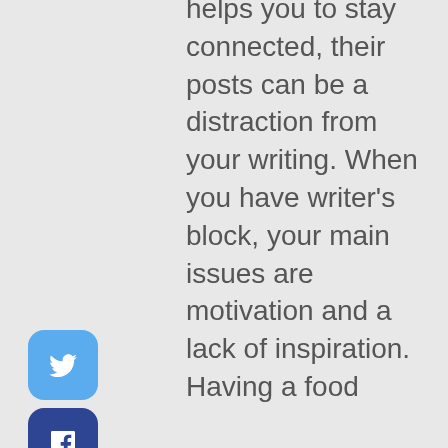Although this helps you to stay connected, their posts can be a distraction from your writing. When you have writer's block, your main issues are motivation and a lack of inspiration. Having a food
[Figure (other): Social media share buttons: Twitter (light blue rounded square), Facebook (dark blue rounded square), LinkedIn (teal rounded square)]